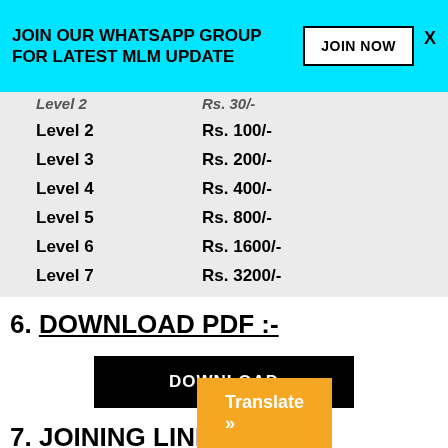JOIN OUR WHATSAPP GROUP FOR LATEST MLM UPDATE | JOIN NOW | X
| Level 2 | Rs. 30/- |
| Level 2 | Rs. 100/- |
| Level 3 | Rs. 200/- |
| Level 4 | Rs. 400/- |
| Level 5 | Rs. 800/- |
| Level 6 | Rs. 1600/- |
| Level 7 | Rs. 3200/- |
6. DOWNLOAD PDF :-
[Figure (other): Black DOWNLOAD button]
7. JOINING LINK :-
Referral link – https://...p
[Figure (other): Orange Translate button overlay]